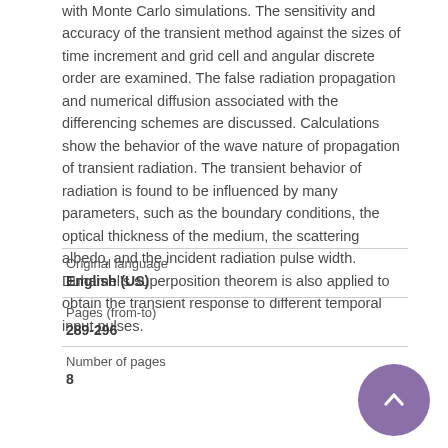with Monte Carlo simulations. The sensitivity and accuracy of the transient method against the sizes of time increment and grid cell and angular discrete order are examined. The false radiation propagation and numerical diffusion associated with the differencing schemes are discussed. Calculations show the behavior of the wave nature of propagation of transient radiation. The transient behavior of radiation is found to be influenced by many parameters, such as the boundary conditions, the optical thickness of the medium, the scattering albedo, and the incident radiation pulse width. Duhamel's superposition theorem is also applied to obtain the transient response to different temporal input pulses.
| Original language | English (US) |
| Pages (from-to) | 289-296 |
| Number of pages | 8 |